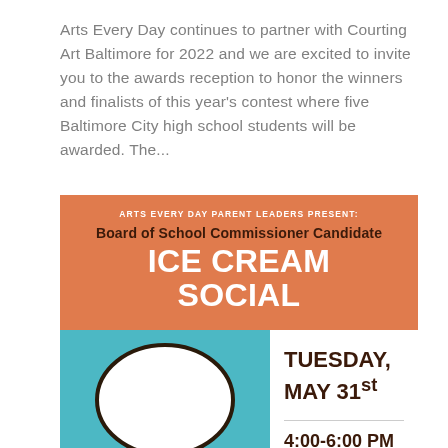Arts Every Day continues to partner with Courting Art Baltimore for 2022 and we are excited to invite you to the awards reception to honor the winners and finalists of this year's contest where five Baltimore City high school students will be awarded. The...
[Figure (infographic): Ice Cream Social event flyer with orange header reading 'ARTS EVERY DAY PARENT LEADERS PRESENT: Board of School Commissioner Candidate ICE CREAM SOCIAL', and a bottom section with a teal/blue left panel showing an ice cream cone illustration, and a white right panel showing the date TUESDAY, MAY 31st and time 4:00-6:00 PM.]